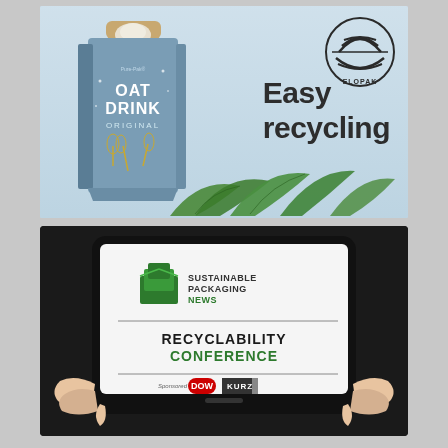[Figure (illustration): Elopak advertisement showing an oat drink carton (Pure-Pak) with 'Easy recycling' text and green leaves on a light blue background, with the Elopak logo in the top right corner.]
[Figure (illustration): Sustainable Packaging News Recyclability Conference advertisement displayed on a tablet being held by hands. White screen shows SPN logo (green box icon), 'RECYCLABILITY CONFERENCE' in bold text, sponsored by DOW and KURZ logos.]